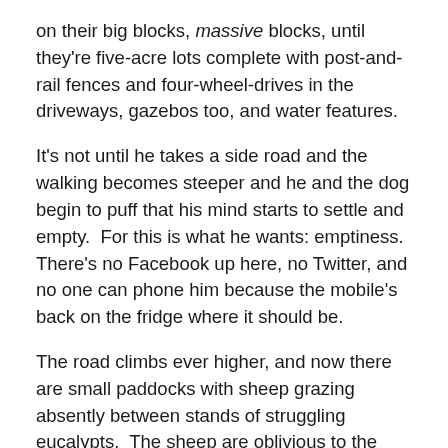on their big blocks, massive blocks, until they're five-acre lots complete with post-and-rail fences and four-wheel-drives in the driveways, gazebos too, and water features.
It's not until he takes a side road and the walking becomes steeper and he and the dog begin to puff that his mind starts to settle and empty.  For this is what he wants: emptiness.  There's no Facebook up here, no Twitter, and no one can phone him because the mobile's back on the fridge where it should be.
The road climbs ever higher, and now there are small paddocks with sheep grazing absently between stands of struggling eucalypts.  The sheep are oblivious to the view, but they shouldn't be – it's expansive, and endless, which is not so much a fact but a feeling.  To the west is the low rump of a range, wind-turbines barely visible; if they're